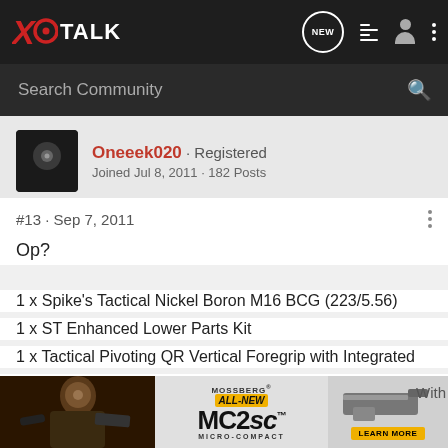XO TALK — navigation bar with search
Oneeek020 · Registered
Joined Jul 8, 2011 · 182 Posts
#13 · Sep 7, 2011
Op?
1 x Spike's Tactical Nickel Boron M16 BCG (223/5.56)
1 x ST Enhanced Lower Parts Kit
1 x Tactical Pivoting QR Vertical Foregrip with Integrated Adjusta...
3+2 x M... With Window...
[Figure (photo): Mossberg MC2sc Micro-Compact advertisement banner showing a person with a firearm and a handgun image with Learn More button]